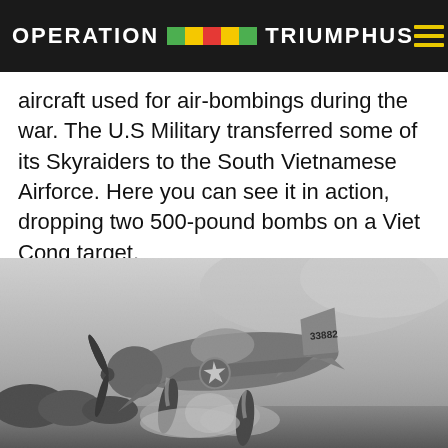OPERATION TRIUMPHUS
aircraft used for air-bombings during the war. The U.S Military transferred some of its Skyraiders to the South Vietnamese Airforce. Here you can see it in action, dropping two 500-pound bombs on a Viet Cong target.
[Figure (photo): Black and white photograph of a Skyraider aircraft (tail number 33882) in flight, low to the ground, dropping two large bombs, with smoke and dust visible below, trees and hazy sky in background.]